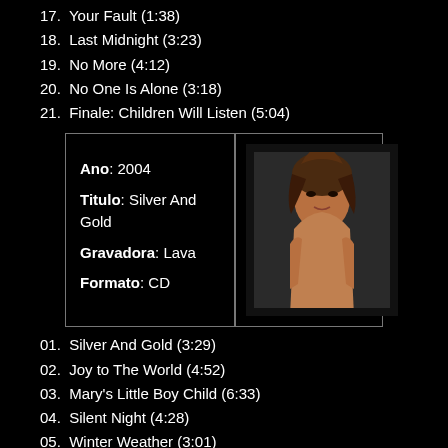17.  Your Fault (1:38)
18.  Last Midnight (3:23)
19.  No More (4:12)
20.  No One Is Alone (3:18)
21.  Finale: Children Will Listen (5:04)
| Ano: 2004
Titulo: Silver And Gold
Gravadora: Lava
Formato: CD | [photo of woman] |
01.  Silver And Gold (3:29)
02.  Joy to The World (4:52)
03.  Mary's Little Boy Child (6:33)
04.  Silent Night (4:28)
05.  Winter Weather (3:01)
06.  The Little Drummer Boy (5:13)
07.  Merry Christmas, Darling (3:50)
08.  Rise Up, Shepherd And Follow (4:53)
09.  Prelude: I Dream A World (1:20)
10.  December Lullaby (4:34)
11.  The Holly and the Ivy (3:33)
12.  [partially visible]